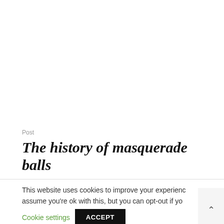Post
The history of masquerade balls
This website uses cookies to improve your experience. We'll assume you're ok with this, but you can opt-out if you wish.
Cookie settings
ACCEPT